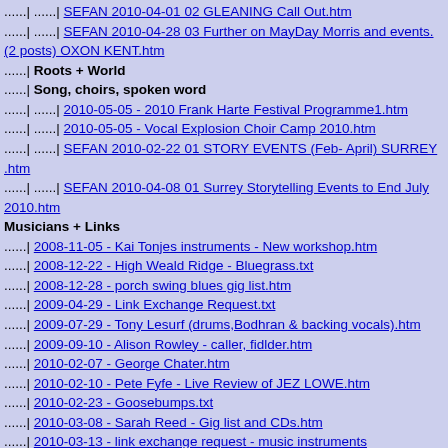......| ......| SEFAN 2010-04-01 02 GLEANING Call Out.htm
......| ......| SEFAN 2010-04-28 03 Further on MayDay Morris and events.(2 posts) OXON KENT.htm
......| Roots + World
......| Song, choirs, spoken word
......| ......| 2010-05-05 - 2010 Frank Harte Festival Programme1.htm
......| ......| 2010-05-05 - Vocal Explosion Choir Camp 2010.htm
......| ......| SEFAN 2010-02-22 01 STORY EVENTS (Feb- April) SURREY .htm
......| ......| SEFAN 2010-04-08 01 Surrey Storytelling Events to End July 2010.htm
Musicians + Links
......| 2008-11-05 - Kai Tonjes instruments - New workshop.htm
......| 2008-12-22 - High Weald Ridge - Bluegrass.txt
......| 2008-12-28 - porch swing blues gig list.htm
......| 2009-04-29 - Link Exchange Request.txt
......| 2009-07-29 - Tony Lesurf (drums,Bodhran & backing vocals).htm
......| 2009-09-10 - Alison Rowley - caller, fidlder.htm
......| 2010-02-07 - George Chater.htm
......| 2010-02-10 - Pete Fyfe - Live Review of JEZ LOWE.htm
......| 2010-02-23 - Goosebumps.txt
......| 2010-03-08 - Sarah Reed - Gig list and CDs.htm
......| 2010-03-13 - link exchange request - music instruments